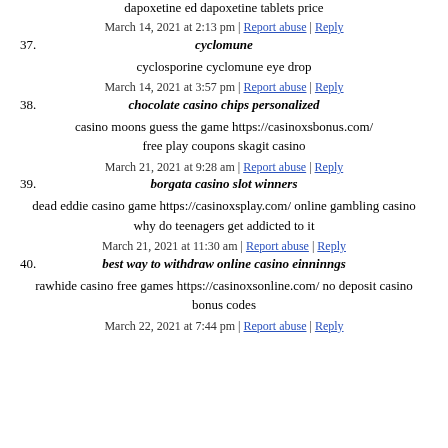dapoxetine ed dapoxetine tablets price
March 14, 2021 at 2:13 pm | Report abuse | Reply
37. cyclomune
cyclosporine cyclomune eye drop
March 14, 2021 at 3:57 pm | Report abuse | Reply
38. chocolate casino chips personalized
casino moons guess the game https://casinoxsbonus.com/ free play coupons skagit casino
March 21, 2021 at 9:28 am | Report abuse | Reply
39. borgata casino slot winners
dead eddie casino game https://casinoxsplay.com/ online gambling casino why do teenagers get addicted to it
March 21, 2021 at 11:30 am | Report abuse | Reply
40. best way to withdraw online casino einninngs
rawhide casino free games https://casinoxsonline.com/ no deposit casino bonus codes
March 22, 2021 at 7:44 pm | Report abuse | Reply